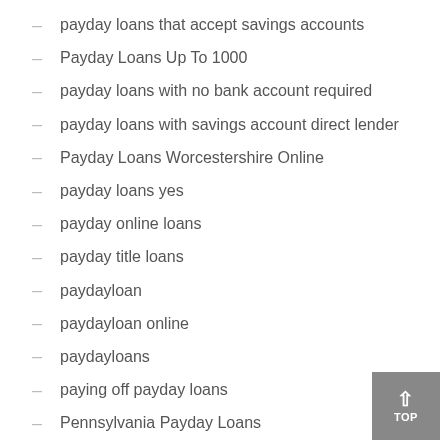payday loans that accept savings accounts
Payday Loans Up To 1000
payday loans with no bank account required
payday loans with savings account direct lender
Payday Loans Worcestershire Online
payday loans yes
payday online loans
payday title loans
paydayloan
paydayloan online
paydayloans
paying off payday loans
Pennsylvania Payday Loans
Pennsylvania Personal Loans Near Me2
personal loans installment payments